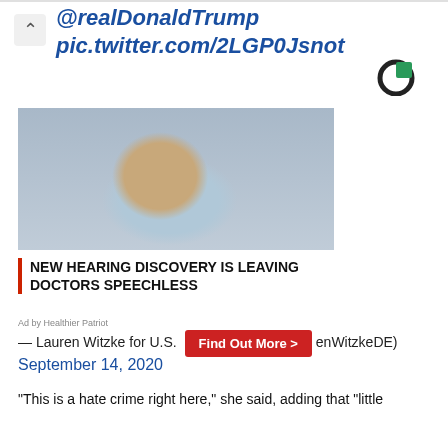@realDonaldTrump
pic.twitter.com/2LGP0Jsnot
[Figure (logo): Circular logo with green rectangle in upper right quadrant, black circle outline on white background]
[Figure (photo): Person tilting their head with a water bottle near their ear, wearing a blue striped shirt, gray background]
NEW HEARING DISCOVERY IS LEAVING DOCTORS SPEECHLESS
Ad by Healthier Patriot
— Lauren Witzke for U.S. [Find Out More >] enWitzkeDE)
September 14, 2020
“This is a hate crime right here,” she said, adding that “little